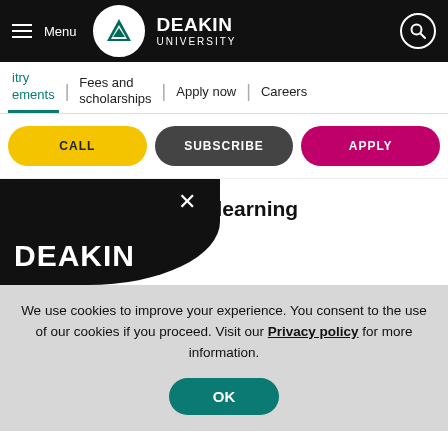Menu | Deakin University | Search
itry | ements | Fees and scholarships | Apply now | Careers
CALL | SUBSCRIBE | APPLY
Recognition of prior learning
students with as much
DEAKIN
We use cookies to improve your experience. You consent to the use of our cookies if you proceed. Visit our Privacy policy for more information.
OK